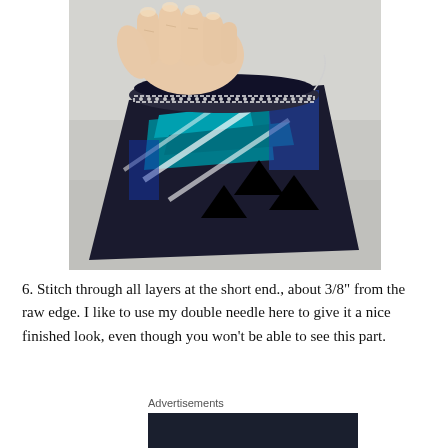[Figure (photo): A hand holding a piece of folded fabric with a blue, black, and white geometric/tribal pattern. The top edge of the fabric shows a row of stitching (double needle stitch) along the short end. The background is a grey/white surface.]
6. Stitch through all layers at the short end., about 3/8" from the raw edge. I like to use my double needle here to give it a nice finished look, even though you won't be able to see this part.
Advertisements